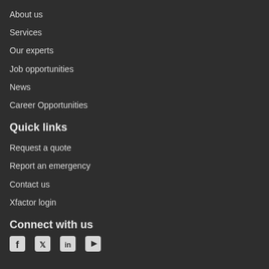About us
Services
Our experts
Job opportunities
News
Career Opportunities
Quick links
Request a quote
Report an emergency
Contact us
Xfactor login
Connect with us
[Figure (other): Social media icons: Facebook, Twitter, LinkedIn, YouTube]